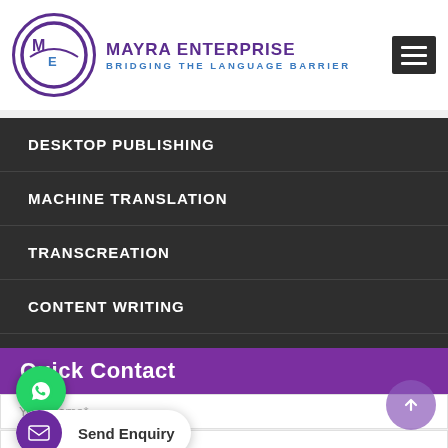MAYRA ENTERPRISE — BRIDGING THE LANGUAGE BARRIER
DESKTOP PUBLISHING
MACHINE TRANSLATION
TRANSCREATION
CONTENT WRITING
DATA ENTRY
Quick Contact
Your Name*
Your Email ID*
Send Enquiry